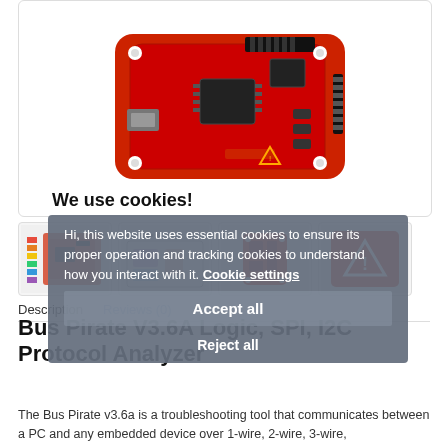[Figure (photo): Red SparkFun Bus Pirate V3.6A circuit board with USB connector and pin header, photographed on white background]
[Figure (photo): Thumbnail 1: Bus Pirate board schematic/diagram with color legend]
[Figure (photo): Thumbnail 2: Bus Pirate V3 board top view schematic]
[Figure (photo): Thumbnail 3: Small red PCB module]
[Figure (photo): Thumbnail 4: Red warning/caution card]
Description
Reviews (0)
Bus Pirate V3.6A Logic, SPI, I2C Protocol Analyzer
The Bus Pirate v3.6a is a troubleshooting tool that communicates between a PC and any embedded device over 1-wire, 2-wire, 3-wire,
We use cookies!
Hi, this website uses essential cookies to ensure its proper operation and tracking cookies to understand how you interact with it. Cookie settings
Accept all
Reject all